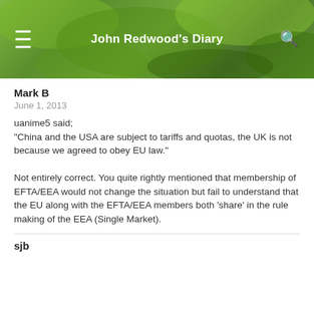John Redwood's Diary
Mark B
June 1, 2013
uanime5 said;
“China and the USA are subject to tariffs and quotas, the UK is not because we agreed to obey EU law.”

Not entirely correct. You quite rightly mentioned that membership of EFTA/EEA would not change the situation but fail to understand that the EU along with the EFTA/EEA members both ‘share’ in the rule making of the EEA (Single Market).
sjb